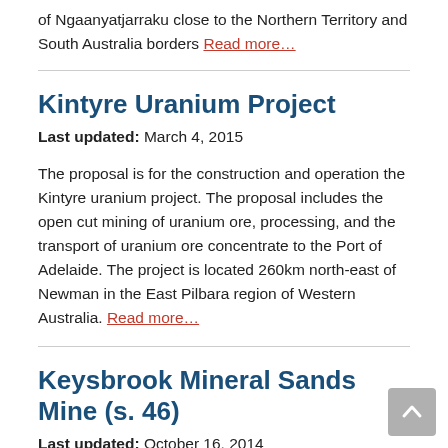of Ngaanyatjarraku close to the Northern Territory and South Australia borders Read more…
Kintyre Uranium Project
Last updated: March 4, 2015
The proposal is for the construction and operation the Kintyre uranium project. The proposal includes the open cut mining of uranium ore, processing, and the transport of uranium ore concentrate to the Port of Adelaide. The project is located 260km north-east of Newman in the East Pilbara region of Western Australia. Read more…
Keysbrook Mineral Sands Mine (s. 46)
Last updated: October 16, 2014